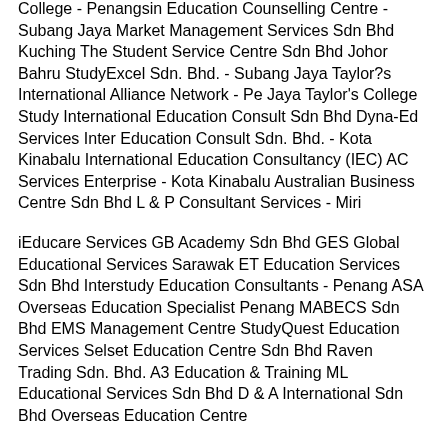College - Penangsin Education Counselling Centre - Subang Jaya Market Management Services Sdn Bhd Kuching The Student Service Centre Sdn Bhd Johor Bahru StudyExcel Sdn. Bhd. - Subang Jaya Taylor?s International Alliance Network - Pe Jaya Taylor's College Study International Education Consult Sdn Bhd Dyna-Ed Services Inter Education Consult Sdn. Bhd. - Kota Kinabalu International Education Consultancy (IEC) AC Services Enterprise - Kota Kinabalu Australian Business Centre Sdn Bhd L & P Consultant Services - Miri
iEducare Services GB Academy Sdn Bhd GES Global Educational Services Sarawak ET Education Services Sdn Bhd Interstudy Education Consultants - Penang ASA Overseas Education Specialist Penang MABECS Sdn Bhd EMS Management Centre StudyQuest Education Services Selset Education Centre Sdn Bhd Raven Trading Sdn. Bhd. A3 Education & Training ML Educational Services Sdn Bhd D & A International Sdn Bhd Overseas Education Centre
ET Education Services Malaysia ISE Consultants
Nairobi
Bruce House 10th Floor, South Wing Standard Street No. 8 Crossway Rd Off Muthithi Road, Opposite Shimmers Plaza